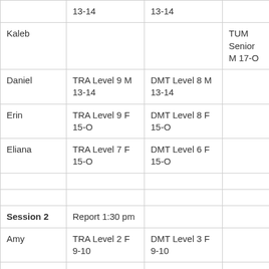|  | 13-14 | 13-14 |  |
| Kaleb |  |  | TUM Senior M 17-O |
| Daniel | TRA Level 9 M 13-14 | DMT Level 8 M 13-14 |  |
| Erin | TRA Level 9 F 15-O | DMT Level 8 F 15-O |  |
| Eliana | TRA Level 7 F 15-O | DMT Level 6 F 15-O |  |
|  |  |  |  |
|  |  |  |  |
| Session 2 | Report 1:30 pm |  |  |
| Amy | TRA Level 2 F 9-10 | DMT Level 3 F 9-10 |  |
| Micah | TRA Level 3 F 9-10 | DMT Level 3 F 9-10 |  |